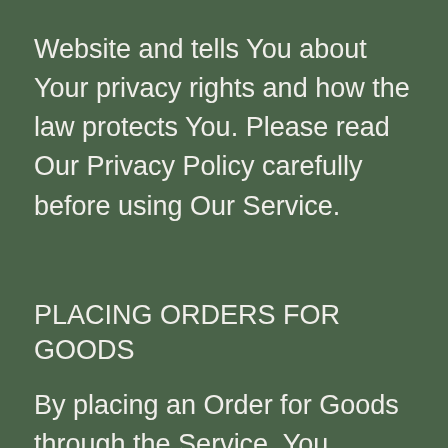Website and tells You about Your privacy rights and how the law protects You. Please read Our Privacy Policy carefully before using Our Service.
PLACING ORDERS FOR GOODS
By placing an Order for Goods through the Service, You warrant that You are legally capable of entering into binding contracts.
SHIPPING
Please allow at least one week for delivery. Most of our curated gifts are processed within 3-4 business